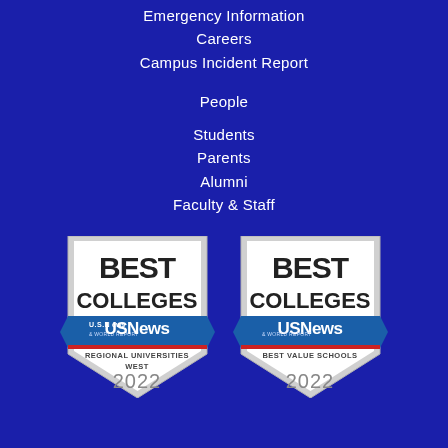Emergency Information
Careers
Campus Incident Report
People
Students
Parents
Alumni
Faculty & Staff
[Figure (logo): US News & World Report Best Colleges badge - Regional Universities West 2022]
[Figure (logo): US News & World Report Best Colleges badge - Best Value Schools 2022]